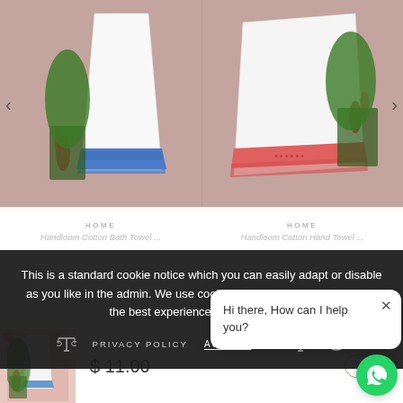[Figure (photo): Two product images side by side: left shows a white cotton bath towel with blue border on pink background, right shows a white cotton hand towel with coral/red border on pink background. Navigation arrows visible on left and right edges.]
HOME
HOME
Handloom Cotton Bath Towel ...
Handloom Cotton Hand Towel ...
This is a standard cookie notice which you can easily adapt or disable as you like in the admin. We use cookies to ensure that we give you the best experience on our website.
PRIVACY POLICY
ACCEPT ✓
[Figure (photo): Small thumbnail image of a white towel with blue border on pink/coral background]
$ 11.00
SOLD
Hi there, How can I help you?